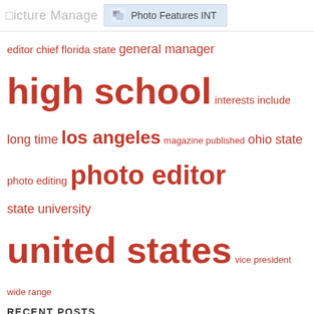icture Manager | Photo Features INT
[Figure (infographic): Tag cloud with terms: editor chief, florida state, general manager, high school, interests include, long time, los angeles, magazine published, ohio state, photo editing, photo editor, state university, united states, vice president, wide range — displayed in varying red font sizes indicating frequency/importance]
RECENT POSTS
PhotoUp helps real estate photographers grow and grow their business
Three must-see art exhibitions in Beijing
Automatic detection of microaneurysms in optical coherence tomography images of the retina using convolutional neural networks and transfer learning
Massive portraits according to the Brenizer method made from 16 medium